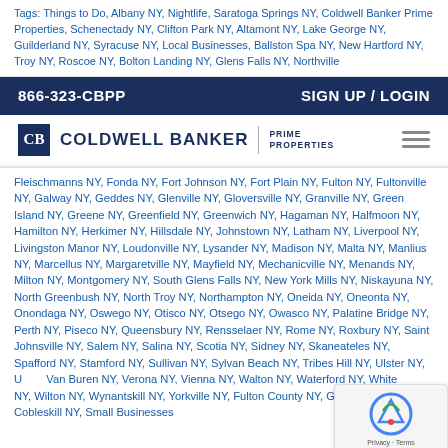Tags: Things to Do, Albany NY, Nightlife, Saratoga Springs NY, Coldwell Banker Prime Properties, Schenectady NY, Clifton Park NY, Altamont NY, Lake George NY, Guilderland NY, Syracuse NY, Local Businesses, Ballston Spa NY, New Hartford NY, Troy NY, Roscoe NY, Bolton Landing NY, Glens Falls NY, Northville
866-323-CBPP    SIGN UP / LOGIN
[Figure (logo): Coldwell Banker Prime Properties logo with CB icon and text]
Fleischmanns NY, Fonda NY, Fort Johnson NY, Fort Plain NY, Fulton NY, Fultonville NY, Galway NY, Geddes NY, Glenville NY, Gloversville NY, Granville NY, Green Island NY, Greene NY, Greenfield NY, Greenwich NY, Hagaman NY, Halfmoon NY, Hamilton NY, Herkimer NY, Hillsdale NY, Johnstown NY, Latham NY, Liverpool NY, Livingston Manor NY, Loudonville NY, Lysander NY, Madison NY, Malta NY, Manlius NY, Marcellus NY, Margaretville NY, Mayfield NY, Mechanicville NY, Menands NY, Milton NY, Montgomery NY, South Glens Falls NY, New York Mills NY, Niskayuna NY, North Greenbush NY, North Troy NY, Northampton NY, Oneida NY, Oneonta NY, Onondaga NY, Oswego NY, Otisco NY, Otsego NY, Owasco NY, Palatine Bridge NY, Perth NY, Piseco NY, Queensbury NY, Rensselaer NY, Rome NY, Roxbury NY, Saint Johnsville NY, Salem NY, Salina NY, Scotia NY, Sidney NY, Skaneateles NY, Spafford NY, Stamford NY, Sullivan NY, Sylvan Beach NY, Tribes Hill NY, Ulster NY, Van Buren NY, Verona NY, Vienna NY, Walton NY, Waterford NY, Whitesboro NY, Wilton NY, Wynantskill NY, Yorkville NY, Fulton County NY, Greenville NY, Berne NY, Cobleskill NY, Small Businesses